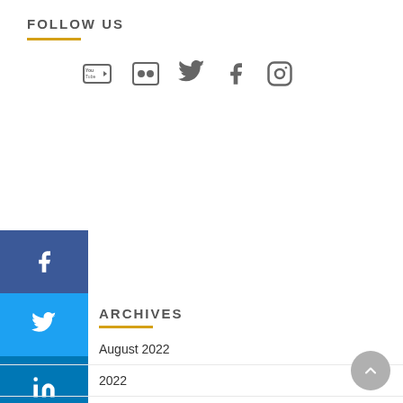FOLLOW US
[Figure (infographic): Social media icons: YouTube, Flickr, Twitter, Facebook, Instagram]
[Figure (infographic): Sidebar social share buttons: Facebook, Twitter, LinkedIn, Pinterest, Reddit, YouTube]
ARCHIVES
August 2022
2022
2022
2022
April 2022
March 2022